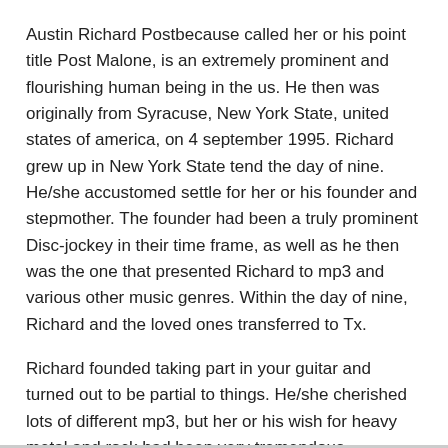Austin Richard Postbecause called her or his point title Post Malone, is an extremely prominent and flourishing human being in the us. He then was originally from Syracuse, New York State, united states of america, on 4 september 1995. Richard grew up in New York State tend the day of nine. He/she accustomed settle for her or his founder and stepmother. The founder had been a truly prominent Disc-jockey in their time frame, as well as he then was the one that presented Richard to mp3 and various other music genres. Within the day of nine, Richard and the loved ones transferred to Tx.
Richard founded taking part in your guitar and turned out to be partial to things. He/she cherished lots of different mp3, but her or his wish for heavy metal and rock had been very tremendous. Although, over time, heavy metal and rock turned out to be better material together with hip-hop and fire. He previously finished different things with mp3 in their years as a child.  Plus, match Rick Ross Net Worth